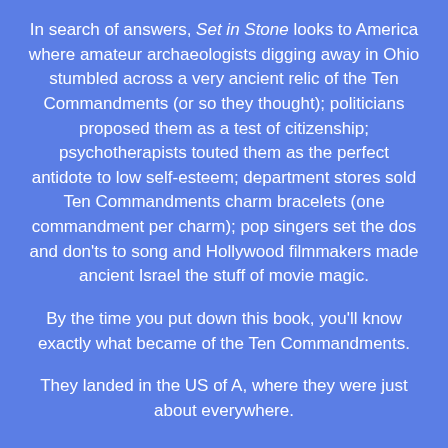In search of answers, Set in Stone looks to America where amateur archaeologists digging away in Ohio stumbled across a very ancient relic of the Ten Commandments (or so they thought); politicians proposed them as a test of citizenship; psychotherapists touted them as the perfect antidote to low self-esteem; department stores sold Ten Commandments charm bracelets (one commandment per charm); pop singers set the dos and don'ts to song and Hollywood filmmakers made ancient Israel the stuff of movie magic.
By the time you put down this book, you'll know exactly what became of the Ten Commandments.
They landed in the US of A, where they were just about everywhere.